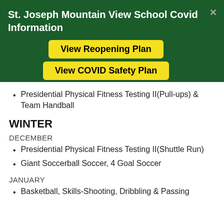St. Joseph Mountain View School Covid Information
View Reopening Plan
View COVID Safety Plan
Presidential Physical Fitness Testing II(Pull-ups) & Team Handball
WINTER
DECEMBER
Presidential Physical Fitness Testing II(Shuttle Run)
Giant Soccerball Soccer, 4 Goal Soccer
JANUARY
Basketball, Skills-Shooting, Dribbling & Passing